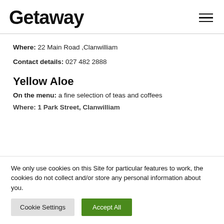Getaway
Where: 22 Main Road ,Clanwilliam
Contact details: 027 482 2888
Yellow Aloe
On the menu: a fine selection of teas and coffees
Where: 1 Park Street, Clanwilliam
We only use cookies on this Site for particular features to work, the cookies do not collect and/or store any personal information about you.